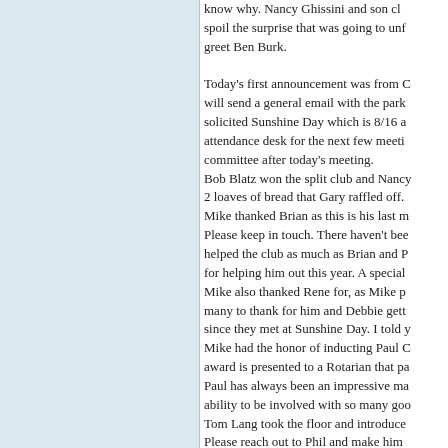know why. Nancy Ghissini and son cl... spoil the surprise that was going to unf... greet Ben Burk.

Today's first announcement was from C... will send a general email with the park... solicited Sunshine Day which is 8/16 a... attendance desk for the next few meeti... committee after today's meeting.

Bob Blatz won the split club and Nancy... 2 loaves of bread that Gary raffled off.

Mike thanked Brian as this is his last m... Please keep in touch. There haven't bee... helped the club as much as Brian and P... for helping him out this year. A special... Mike also thanked Rene for, as Mike p... many to thank for him and Debbie gett... since they met at Sunshine Day. I told y... Mike had the honor of inducting Paul C... award is presented to a Rotarian that pa... Paul has always been an impressive ma... ability to be involved with so many goo... Tom Lang took the floor and introduce... Please reach out to Phil and make him... Meeting adjourned
The Ken June 5
The Ken June 5